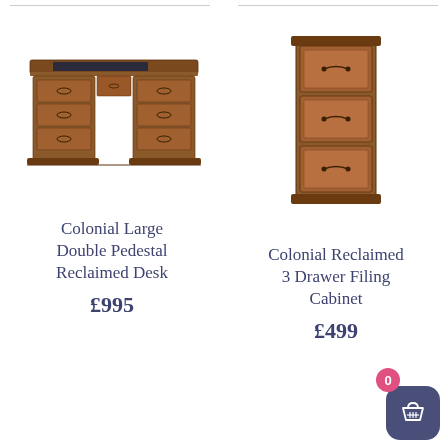[Figure (photo): Wooden Colonial Large Double Pedestal Reclaimed Desk with multiple drawers and dark leather top surface]
[Figure (photo): Wooden Colonial Reclaimed 3 Drawer Filing Cabinet, tall narrow cabinet with three drawers and metal ring pulls]
Colonial Large Double Pedestal Reclaimed Desk
£995
Colonial Reclaimed 3 Drawer Filing Cabinet
£499